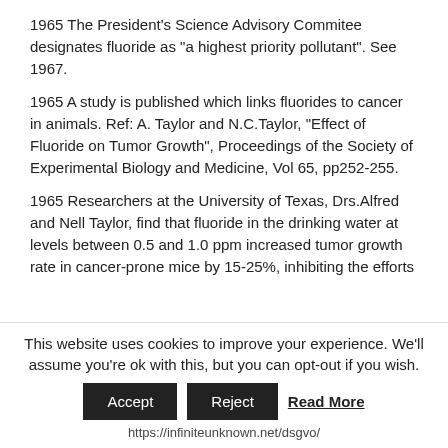1965 The President's Science Advisory Commitee designates fluoride as “a highest priority pollutant”. See 1967.
1965 A study is published which links fluorides to cancer in animals. Ref: A. Taylor and N.C.Taylor, “Effect of Fluoride on Tumor Growth”, Proceedings of the Society of Experimental Biology and Medicine, Vol 65, pp252-255.
1965 Researchers at the University of Texas, Drs.Alfred and Nell Taylor, find that fluoride in the drinking water at levels between 0.5 and 1.0 ppm increased tumor growth rate in cancer-prone mice by 15-25%, inhibiting the efforts of the immune system to attack tumors.
1965 When asked about the advisability of adding sodium fluoride to table salt, the FDA on July 12, 1965 answered, “We would consider the addition of sodium fluoride to table salt as a violation of the Federal Food, Drug and
This website uses cookies to improve your experience. We’ll assume you’re ok with this, but you can opt-out if you wish.
Accept   Reject   Read More
https://infiniteunknown.net/dsgvo/